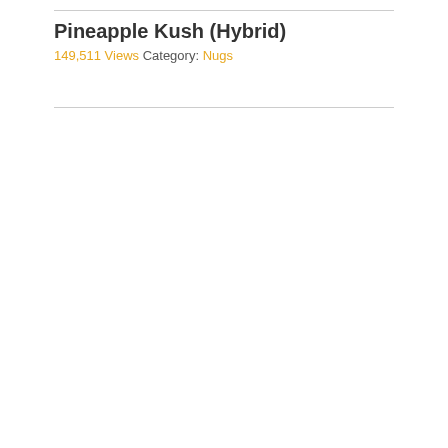Pineapple Kush (Hybrid)
149,511 Views  Category: Nugs